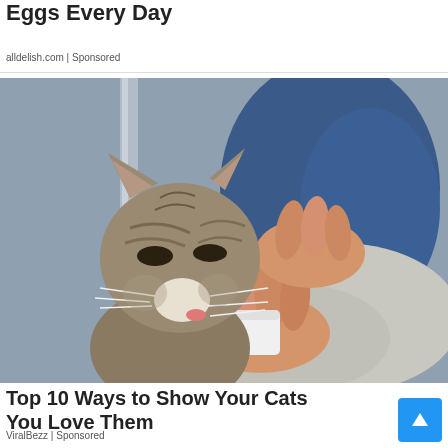Eggs Every Day
alldelish.com | Sponsored
[Figure (photo): A tabby cat licking from a small white container held in a person's hands, with a person's knee in blue jeans visible in the background.]
Top 10 Ways to Show Your Cats You Love Them
ViralBezz | Sponsored